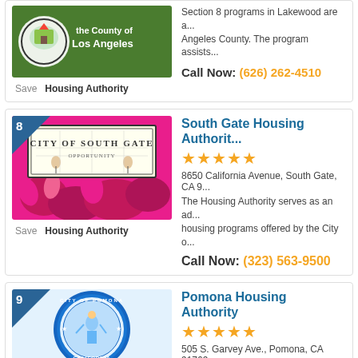[Figure (photo): Partial top listing card showing County of Los Angeles housing authority logo image]
Section 8 programs in Lakewood are a... Angeles County. The program assists...
Call Now: (626) 262-4510
[Figure (photo): South Gate Housing Authority listing card with City of South Gate sign image]
South Gate Housing Authority
★★★★★
8650 California Avenue, South Gate, CA 9...
The Housing Authority serves as an ad... housing programs offered by the City o...
Call Now: (323) 563-9500
[Figure (photo): Pomona Housing Authority listing card with City of Pomona seal image]
Pomona Housing Authority
★★★★★
505 S. Garvey Ave., Pomona, CA 91769...
Pomona offers an array of housing opp...